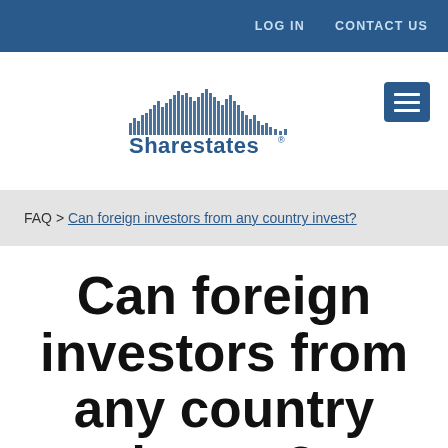LOG IN   CONTACT US
[Figure (logo): Sharestates logo with stylized city skyline made of dots above the text 'Sharestates']
FAQ > Can foreign investors from any country invest?
Can foreign investors from any country invest?
If you are a non-resident alien you can invest on the platform...